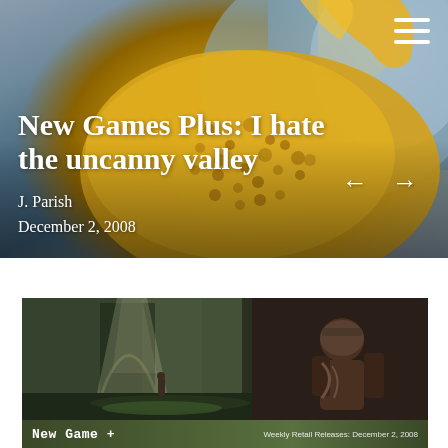[Figure (photo): Hero banner with close-up macro photo of yellow bumpy organic texture (possibly a sea creature or fruit skin) against blue-grey watery background. Navigation arrows and hamburger menu icon overlay.]
New Games Plus: I hate the uncanny valley
J. Parish
December 2, 2008
[Figure (screenshot): Video game screenshot showing a dark atmospheric cathedral/dungeon interior with light beams, a small character figure in the center, and a warrior character on the right side. Bottom bar reads 'New Game +' and 'Weekly Retail Releases: December 2, 2008'.]